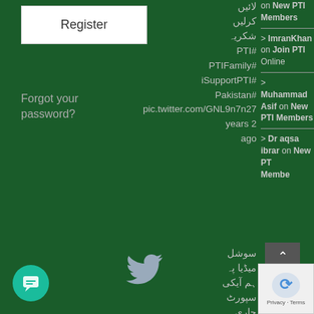Register
Forgot your password?
لائیں کرلیں شکریہ #PTI #PTIFamily #iSupportPTI #Pakistan pic.twitter.com/GNL9n7n27 2 years ago
on New PTI Members
> ImranKhan on Join PTI
on New PTI Members
> Muhammad Asif on New PTI Members
> Dr aqsa ibrar on New PTI Members
[Figure (illustration): Twitter bird icon in light gray]
سوشل میڈیا پہ ہم آیکی سپورٹ جاری رکھیں گے انشاللہ پوسٹ شیئر کریں #PTI #PTIFamily
[Figure (screenshot): reCAPTCHA widget with Privacy and Terms text]
[Figure (illustration): Chat widget button (teal circular button with message icon)]